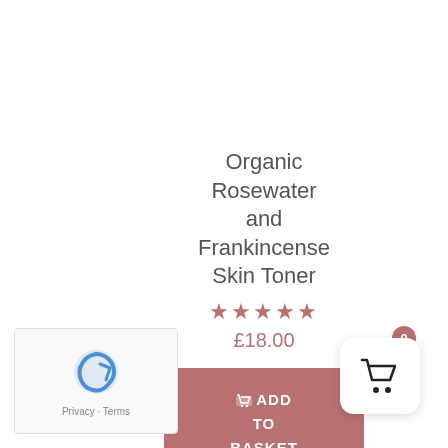Organic Rosewater and Frankincense Skin Toner
★★★★★
£18.00
ADD TO BASKET
[Figure (screenshot): Shopping cart widget with badge showing 0]
[Figure (screenshot): Google reCAPTCHA widget with Privacy - Terms text]